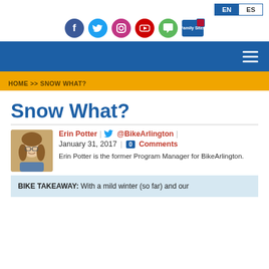EN | ES — language selector
[Figure (infographic): Social media icons: Facebook (blue), Twitter (cyan), Instagram (pink), YouTube (red), Chat (green), and a newsletter/email icon]
Navigation bar with hamburger menu
HOME >> SNOW WHAT?
Snow What?
Erin Potter | @BikeArlington | January 31, 2017 | 0 Comments
Erin Potter is the former Program Manager for BikeArlington.
BIKE TAKEAWAY: With a mild winter (so far) and our